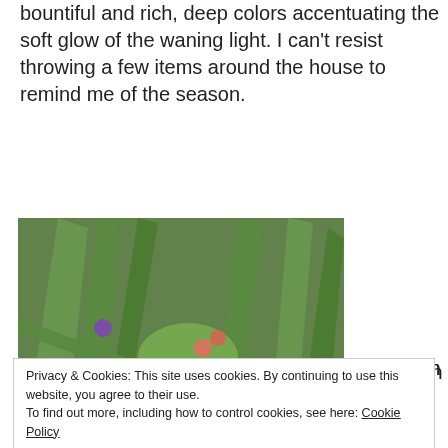bountiful and rich, deep colors accentuating the soft glow of the waning light.  I can't resist throwing a few items around the house to remind me of the season.
[Figure (photo): Overhead view of a garden container planting with tall spiky green plants, colorful flowering plants including purple petunias and pink flowers, dark ornamental kale, and an orange pumpkin visible at the bottom right.]
Once upon a
Privacy & Cookies: This site uses cookies. By continuing to use this website, you agree to their use.
To find out more, including how to control cookies, see here: Cookie Policy
Close and accept
carried it off by afore mentioned stalk.  I suppose it